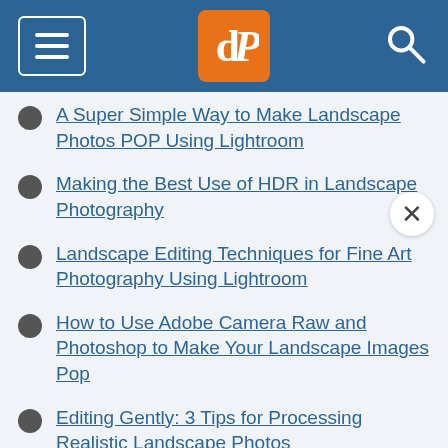dPS navigation header
A Super Simple Way to Make Landscape Photos POP Using Lightroom
Making the Best Use of HDR in Landscape Photography
Landscape Editing Techniques for Fine Art Photography Using Lightroom
How to Use Adobe Camera Raw and Photoshop to Make Your Landscape Images Pop
Editing Gently: 3 Tips for Processing Realistic Landscape Photos